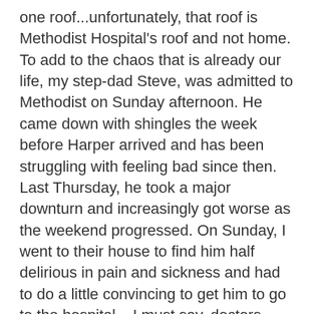one roof...unfortunately, that roof is Methodist Hospital's roof and not home. To add to the chaos that is already our life, my step-dad Steve, was admitted to Methodist on Sunday afternoon. He came down with shingles the week before Harper arrived and has been struggling with feeling bad since then. Last Thursday, he took a major downturn and increasingly got worse as the weekend progressed. On Sunday, I went to their house to find him half delirious in pain and sickness and had to do a little convincing to get him to go to the hospital – I must say, doctors make the worst patients! He's now been diagnosed with prostatitis,abscessed diverticulitis and has a hole in his colon that will need repair with surgery. I keep waiting for Ashton Kutcher to show up telling our family that "we've been punk'd!" Oh, if only that was the case. Brent and Lynn both came in town yesterday so it was nice to have some moral and sibling support. Steve's expected to be in the hospital a few more days while his system repairs itself and we'll discuss the options for surgery to repair his colon when the time is right. I have the feeling his body has taken quite a beating from the chemo over the last year and a half and is his immune system has decided to take a little vacation. Well